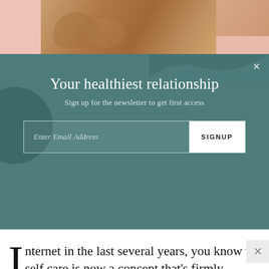[Figure (photo): Top image strip showing massage/wellness photos with salmon/peach color blocks on left and right]
Your healthiest relationship
Sign up for the newsletter to get first access
Enter Email Address  SIGNUP
internet in the last several years, you know that self care is now a concept that's firmly entrenched in our pop-culture consciousness. And given the state of stress you've been operating in lately, you can understand why. But what if you personally don't have the time or budget for a spa